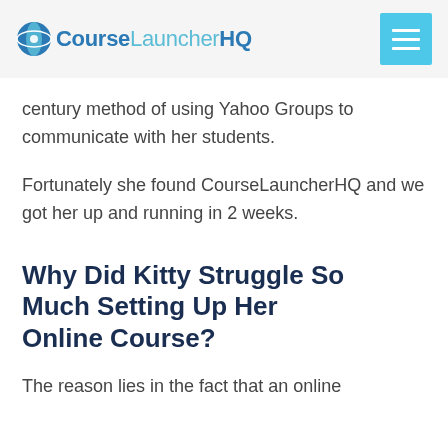CourseLauncherHQ
century method of using Yahoo Groups to communicate with her students.
Fortunately she found CourseLauncherHQ and we got her up and running in 2 weeks.
Why Did Kitty Struggle So Much Setting Up Her Online Course?
The reason lies in the fact that an online